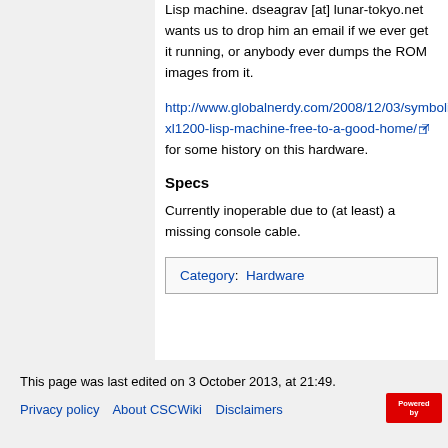Lisp machine. dseagrav [at] lunar-tokyo.net wants us to drop him an email if we ever get it running, or anybody ever dumps the ROM images from it.
http://www.globalnerdy.com/2008/12/03/symbolics-xl1200-lisp-machine-free-to-a-good-home/ for some history on this hardware.
Specs
Currently inoperable due to (at least) a missing console cable.
| Category: Hardware |
This page was last edited on 3 October 2013, at 21:49.
Privacy policy   About CSCWiki   Disclaimers